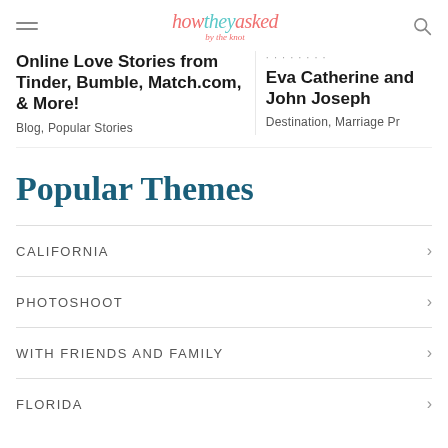howtheyasked by the knot
Online Love Stories from Tinder, Bumble, Match.com, & More!
Blog, Popular Stories
Eva Catherine and John Joseph
Destination, Marriage Pr
Popular Themes
CALIFORNIA
PHOTOSHOOT
WITH FRIENDS AND FAMILY
FLORIDA